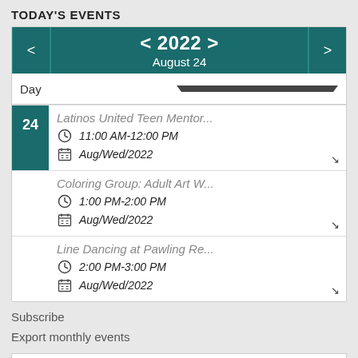TODAY'S EVENTS
| < 2022 > | August 24 |
| Day |  |
| 24 | Latinos United Teen Mentor... | 11:00 AM-12:00 PM | Aug/Wed/2022 |
|  | Coloring Group: Adult Art W... | 1:00 PM-2:00 PM | Aug/Wed/2022 |
|  | Line Dancing at Pawling Re... | 2:00 PM-3:00 PM | Aug/Wed/2022 |
Subscribe
Export monthly events
Export monthly eventsExport ICS